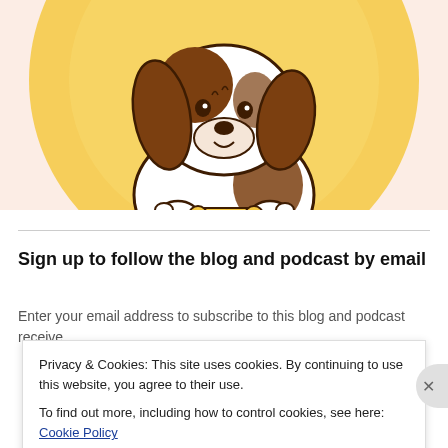[Figure (illustration): Cartoon illustration of a beagle dog sitting in front of a large yellow circle/halo background, holding a bone. The dog has brown and white coloring with floppy ears.]
Sign up to follow the blog and podcast by email
Enter your email address to subscribe to this blog and podcast receive
Privacy & Cookies: This site uses cookies. By continuing to use this website, you agree to their use.
To find out more, including how to control cookies, see here: Cookie Policy